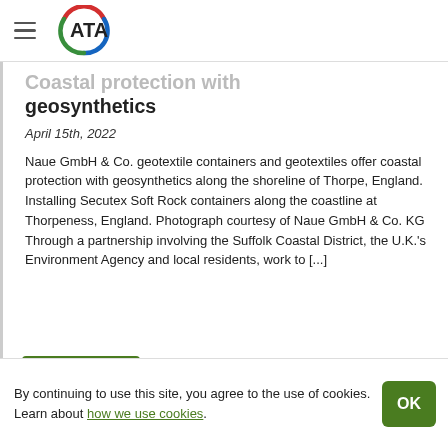ATA (logo)
Coastal protection with geosynthetics
April 15th, 2022
Naue GmbH & Co. geotextile containers and geotextiles offer coastal protection with geosynthetics along the shoreline of Thorpe, England. Installing Secutex Soft Rock containers along the coastline at Thorpeness, England. Photograph courtesy of Naue GmbH & Co. KG Through a partnership involving the Suffolk Coastal District, the U.K.'s Environment Agency and local residents, work to [...]
By continuing to use this site, you agree to the use of cookies. Learn about how we use cookies.